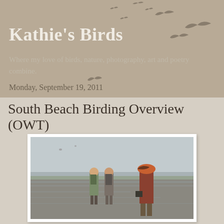Kathie's Birds
Where my love of birds, nature, photography, art and poetry combine.
Monday, September 19, 2011
South Beach Birding Overview (OWT)
[Figure (photo): Three birders walking on a wet tidal flat / beach. Two people in the background carry backpacks and binoculars. One person in the foreground wears an orange hat and carries camera equipment. Overcast sky and low-lying vegetation visible in the distance.]